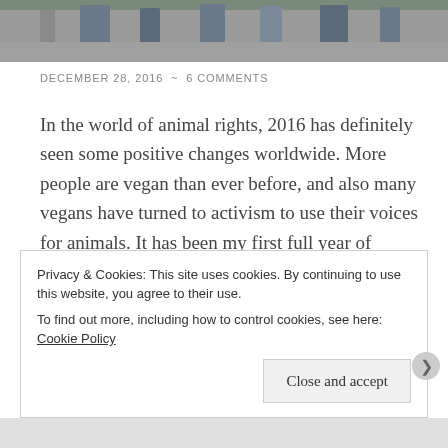[Figure (photo): A strip photo showing people standing outdoors, partial view of legs and lower bodies against a concrete/street background.]
DECEMBER 28, 2016  ~  6 COMMENTS
In the world of animal rights, 2016 has definitely seen some positive changes worldwide. More people are vegan than ever before, and also many vegans have turned to activism to use their voices for animals. It has been my first full year of animal activism, and taking action for animals has became a huge part … Continue reading
Privacy & Cookies: This site uses cookies. By continuing to use this website, you agree to their use.
To find out more, including how to control cookies, see here: Cookie Policy
Close and accept